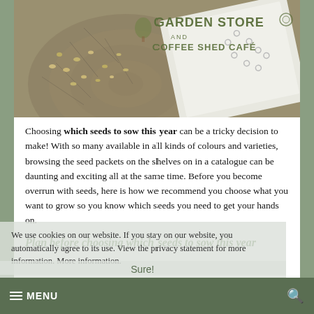[Figure (photo): Hero photo of seeds scattered on a wooden surface with a seed packet/cloth bag. Overlay shows 'GARDEN STORE AND COFFEE SHED CAFÉ' logo text in dark green.]
Choosing which seeds to sow this year can be a tricky decision to make! With so many available in all kinds of colours and varieties, browsing the seed packets on the shelves on in a catalogue can be daunting and exciting all at the same time. Before you become overrun with seeds, here is how we recommend you choose what you want to grow so you know which seeds you need to get your hands on.
Plan before choosing which seeds to sow this year
We use cookies on our website. If you stay on our website, you automatically agree to its use. View the privacy statement for more information. More information.
≡ MENU    Sure!